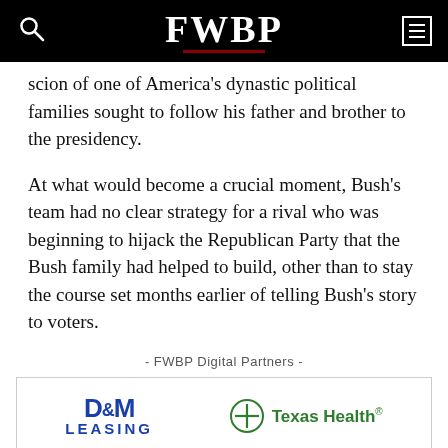FWBP
scion of one of America’s dynastic political families sought to follow his father and brother to the presidency.
At what would become a crucial moment, Bush’s team had no clear strategy for a rival who was beginning to hijack the Republican Party that the Bush family had helped to build, other than to stay the course set months earlier of telling Bush’s story to voters.
- FWBP Digital Partners -
[Figure (logo): Advertisement banner with D&M Leasing and Texas Health logos side by side]